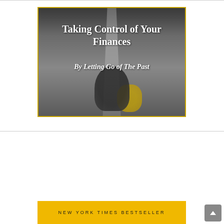[Figure (photo): Book cover image showing a child sitting on a road holding a teddy bear, black and white photo. Text overlay reads 'Taking Control of Your Finances By Letting Go of The Past'. Image has a gold/yellow border.]
[Figure (illustration): Yellow/gold banner with text 'NEW YORK TIMES BESTSELLER' in spaced capital letters, partially visible at the bottom of the page.]